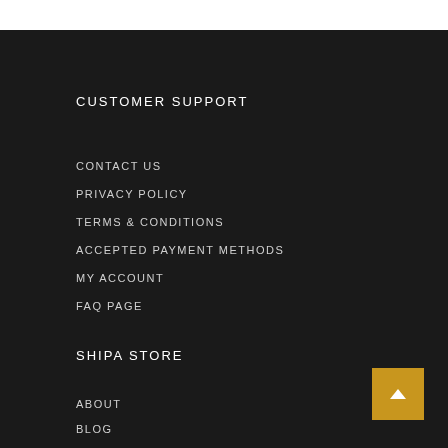CUSTOMER SUPPORT
CONTACT US
PRIVACY POLICY
TERMS & CONDITIONS
ACCEPTED PAYMENT METHODS
MY ACCOUNT
FAQ PAGE
SHIPA STORE
ABOUT
BLOG